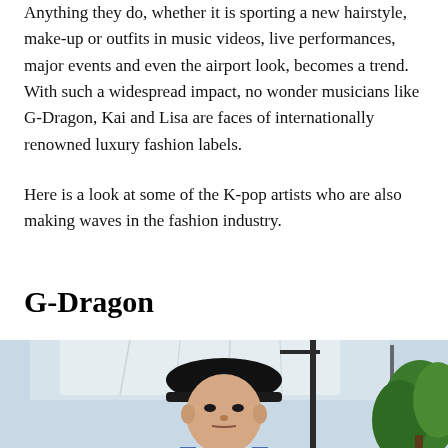Anything they do, whether it is sporting a new hairstyle, make-up or outfits in music videos, live performances, major events and even the airport look, becomes a trend. With such a widespread impact, no wonder musicians like G-Dragon, Kai and Lisa are faces of internationally renowned luxury fashion labels.
Here is a look at some of the K-pop artists who are also making waves in the fashion industry.
G-Dragon
[Figure (photo): A young man with a black cap photographed outdoors against a light grey/white background with green trees and a metal rack structure visible. He is wearing a blue denim patterned jacket.]